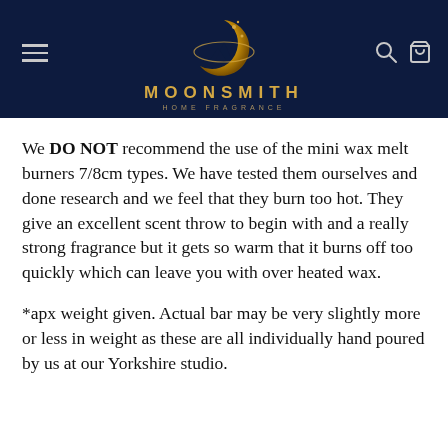MOONSMITH HOME FRAGRANCE
We DO NOT recommend the use of the mini wax melt burners 7/8cm types. We have tested them ourselves and done research and we feel that they burn too hot. They give an excellent scent throw to begin with and a really strong fragrance but it gets so warm that it burns off too quickly which can leave you with over heated wax.
*apx weight given. Actual bar may be very slightly more or less in weight as these are all individually hand poured by us at our Yorkshire studio.